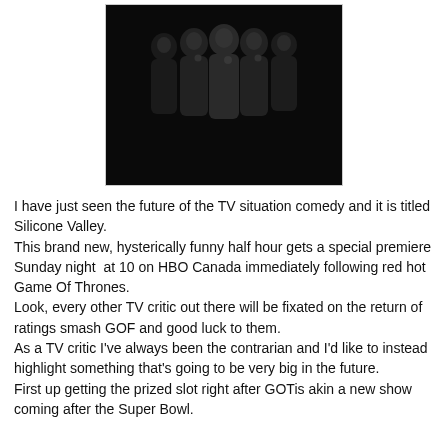[Figure (photo): Silicon Valley TV show promotional poster — group of men in dark clothing against black background with 'SILICON VALLEY' title in red below]
I have just seen the future of the TV situation comedy and it is titled Silicone Valley.
This brand new, hysterically funny half hour gets a special premiere Sunday night  at 10 on HBO Canada immediately following red hot Game Of Thrones.
Look, every other TV critic out there will be fixated on the return of ratings smash GOF and good luck to them.
As a TV critic I've always been the contrarian and I'd like to instead highlight something that's going to be very big in the future.
First up getting the prized slot right after GOTis akin a new show coming after the Super Bowl.